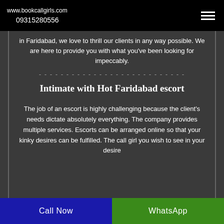www.bookcallgirls.com 09315280556
in Faridabad, we love to thrill our clients in any way possible. We are here to provide you with what you've been looking for impeccably.
---------------------------
Intimate with Hot Faridabad escort
The job of an escort is highly challenging because the client's needs dictate absolutely everything. The company provides multiple services. Escorts can be arranged online so that your kinky desires can be fulfilled. The call girl you wish to see in your desire
Call Now | WhatsApp